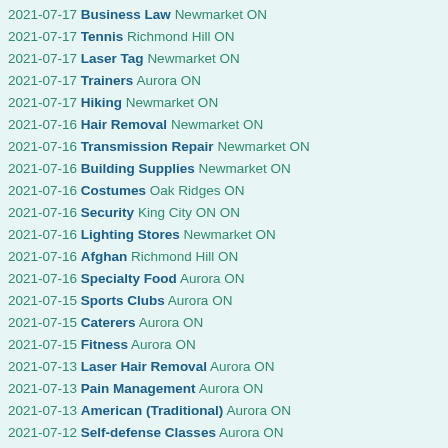2021-07-17 Business Law Newmarket ON
2021-07-17 Tennis Richmond Hill ON
2021-07-17 Laser Tag Newmarket ON
2021-07-17 Trainers Aurora ON
2021-07-17 Hiking Newmarket ON
2021-07-16 Hair Removal Newmarket ON
2021-07-16 Transmission Repair Newmarket ON
2021-07-16 Building Supplies Newmarket ON
2021-07-16 Costumes Oak Ridges ON
2021-07-16 Security King City ON ON
2021-07-16 Lighting Stores Newmarket ON
2021-07-16 Afghan Richmond Hill ON
2021-07-16 Specialty Food Aurora ON
2021-07-15 Sports Clubs Aurora ON
2021-07-15 Caterers Aurora ON
2021-07-15 Fitness Aurora ON
2021-07-13 Laser Hair Removal Aurora ON
2021-07-13 Pain Management Aurora ON
2021-07-13 American (Traditional) Aurora ON
2021-07-12 Self-defense Classes Aurora ON
2021-07-12 Television Stations Richmond Hill ON
2021-07-12 Tapas/Small Plates Aurora ON
2021-07-12 Dance Studios Richmond Hill ON